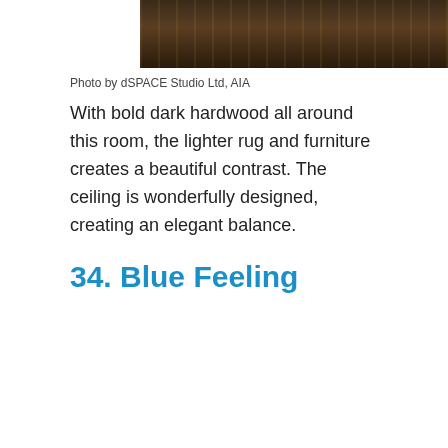[Figure (photo): Close-up of dark hardwood floor with warm lighting reflections]
Photo by dSPACE Studio Ltd, AIA
With bold dark hardwood all around this room, the lighter rug and furniture creates a beautiful contrast. The ceiling is wonderfully designed, creating an elegant balance.
34. Blue Feeling
[Figure (photo): Dark blue-toned interior room photo, partially obscured by advertisement overlay]
[Figure (infographic): Search advertisement overlay with two results: 1. Living Room Ideas 2022, 2. Modern Living Room Decor Ideas]